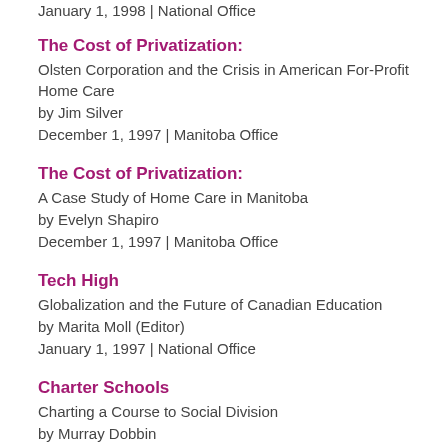January 1, 1998 | National Office
The Cost of Privatization:
Olsten Corporation and the Crisis in American For-Profit Home Care
by Jim Silver
December 1, 1997 | Manitoba Office
The Cost of Privatization:
A Case Study of Home Care in Manitoba
by Evelyn Shapiro
December 1, 1997 | Manitoba Office
Tech High
Globalization and the Future of Canadian Education
by Marita Moll (Editor)
January 1, 1997 | National Office
Charter Schools
Charting a Course to Social Division
by Murray Dobbin
January 1, 1997 | National Office, BC Office